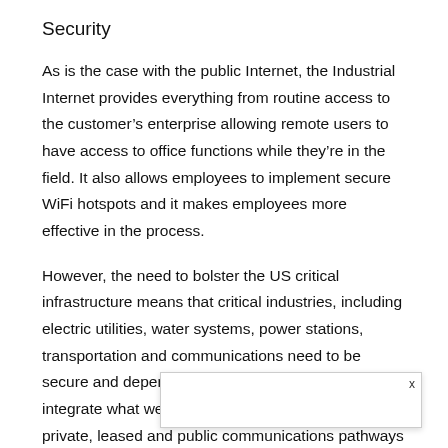Security
As is the case with the public Internet, the Industrial Internet provides everything from routine access to the customer’s enterprise allowing remote users to have access to office functions while they’re in the field. It also allows employees to implement secure WiFi hotspots and it makes employees more effective in the process.
However, the need to bolster the US critical infrastructure means that critical industries, including electric utilities, water systems, power stations, transportation and communications need to be secure and dependable. What GE has done is integrate what were once a loose collection of private, leased and public communications pathways and consolidated it into a single, cohesive and secure internet. As is the … ve to spend ti…